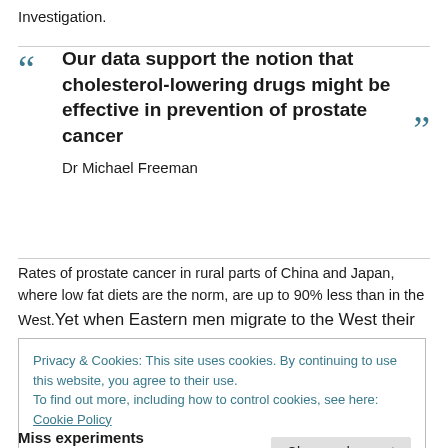Investigation.
Our data support the notion that cholesterol-lowering drugs might be effective in prevention of prostate cancer
Dr Michael Freeman
Rates of prostate cancer in rural parts of China and Japan, where low fat diets are the norm, are up to 90% less than in the West. Yet when Eastern men migrate to the West their chances of
Privacy & Cookies: This site uses cookies. By continuing to use this website, you agree to their use.
To find out more, including how to control cookies, see here: Cookie Policy
Close and accept
Miss experiments